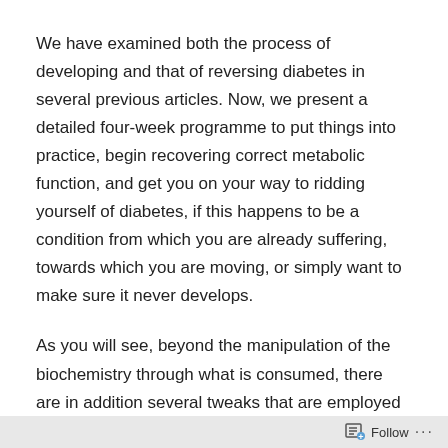We have examined both the process of developing and that of reversing diabetes in several previous articles. Now, we present a detailed four-week programme to put things into practice, begin recovering correct metabolic function, and get you on your way to ridding yourself of diabetes, if this happens to be a condition from which you are already suffering, towards which you are moving, or simply want to make sure it never develops.
As you will see, beyond the manipulation of the biochemistry through what is consumed, there are in addition several tweaks that are employed to ensure the best possible response to and outcome of the programme. These have mostly to do with timing: when we do things, when we drink, and when we eat. But also include
Follow ···